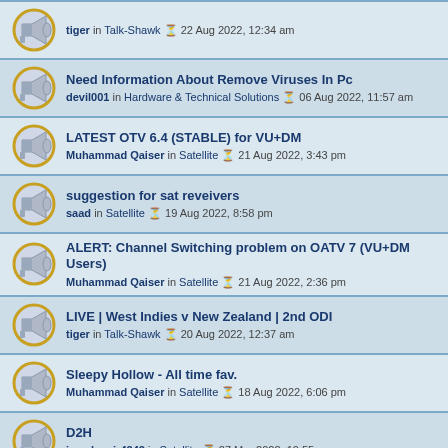tiger in Talk-Shawk 22 Aug 2022, 12:34 am
Need Information About Remove Viruses In Pc — devil001 in Hardware & Technical Solutions 06 Aug 2022, 11:57 am
LATEST OTV 6.4 (STABLE) for VU+DM — Muhammad Qaiser in Satellite 21 Aug 2022, 3:43 pm
suggestion for sat reveivers — saad in Satellite 19 Aug 2022, 8:58 pm
ALERT: Channel Switching problem on OATV 7 (VU+DM Users) — Muhammad Qaiser in Satellite 21 Aug 2022, 2:36 pm
LIVE | West Indies v New Zealand | 2nd ODI — tiger in Talk-Shawk 20 Aug 2022, 12:37 am
Sleepy Hollow - All time fav. — Muhammad Qaiser in Satellite 18 Aug 2022, 6:06 pm
D2H — jamalnasir4242 in Satellite 27 Mar 2022, 10:55 pm
turbo cam — Scotland55 in Satellite 13 Aug 2022, 8:42 am
Openbox z5, Openbox A7G, Skybox A6, Azplay, Aone and other — -=MaNzOoR=- in Satellite 07 Mar 2018, 8:34 pm
electric bills online cheek karo